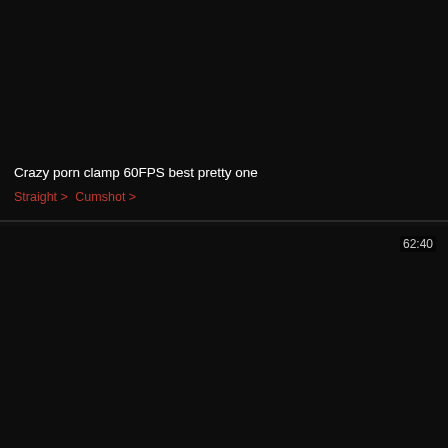[Figure (screenshot): Dark/black video thumbnail for first video card]
Crazy porn clamp 60FPS best pretty one
Straight >   Cumshot >
[Figure (screenshot): Dark/black video thumbnail for second video card with duration 62:40]
62:40